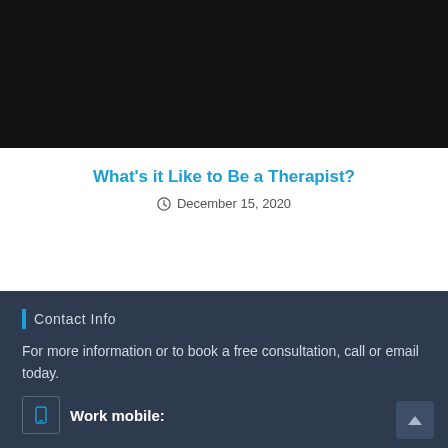[Figure (photo): Dark/black image area at top of page, likely a video thumbnail or header image]
What's it Like to Be a Therapist?
December 15, 2020
Contact Info
For more information or to book a free consultation, call or email today.
Work mobile: